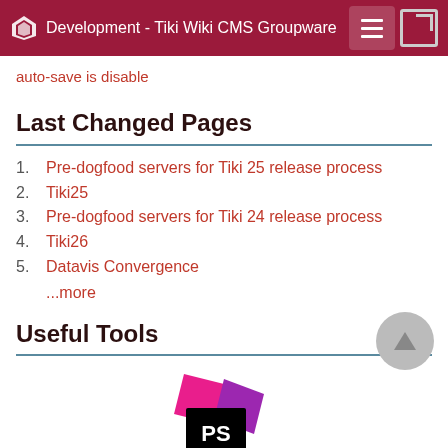Development - Tiki Wiki CMS Groupware
auto-save is disable
Last Changed Pages
Pre-dogfood servers for Tiki 25 release process
Tiki25
Pre-dogfood servers for Tiki 24 release process
Tiki26
Datavis Convergence
...more
Useful Tools
[Figure (logo): PhpStorm IDE logo - pink and purple geometric diamond shapes with 'PS' text on black background]